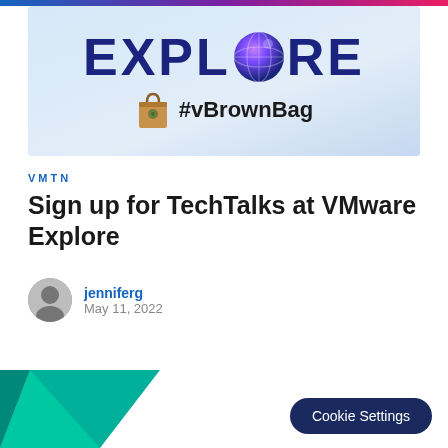[Figure (illustration): VMware Explore banner with large blue EXPLORE text (globe replacing the O), and #vBrownBag logo with paper bag icon below, on a light blue gradient background]
VMTN
Sign up for TechTalks at VMware Explore
jenniferg
May 11, 2022
[Figure (logo): VMware Explore teal/green geometric logo shape, partially visible at bottom left]
Cookie Settings